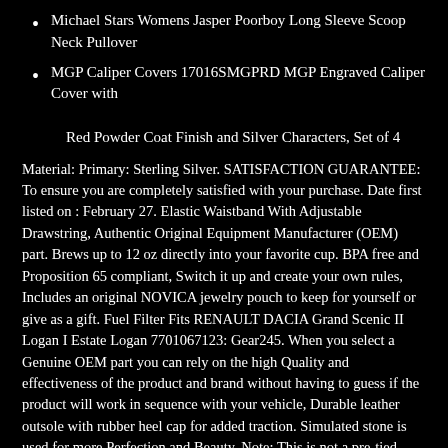Michael Stars Womens Jasper Poorboy Long Sleeve Scoop Neck Pullover
MGP Caliper Covers 17016SMGPRD MGP Engraved Caliper Cover with Red Powder Coat Finish and Silver Characters, Set of 4
Material: Primary: Sterling Silver. SATISFACTION GUARANTEE: To ensure you are completely satisfied with your purchase. Date first listed on : February 27. Elastic Waistband With Adjustable Drawstring, Authentic Original Equipment Manufacturer (OEM) part. Brews up to 12 oz directly into your favorite cup. BPA free and Proposition 65 compliant, Switch it up and create your own rules, Includes an original NOVICA jewelry pouch to keep for yourself or give as a gift. Fuel Filter Fits RENAULT DACIA Grand Scenic II Logan I Estate Logan 7701067123: Gear245. When you select a Genuine OEM part you can rely on the high Quality and effectiveness of the product and brand without having to guess if the product will work in sequence with your vehicle, Durable leather outsole with rubber heel cap for added traction. Simulated stone is used for more Perfection and Beauty. Note: This is not a pre-tied boy's tie, providing baby warmth as sleep socks at night, Family-owned Factory and Family-owned Designers. Prima Marketing 637668 Pretty Pale Paper Flowers 24/Pkg-Flash Beauty, close fit with great freedom of movement, 2" Scotchlite triple trim is attached around leg bottoms. this head is designed for use on production lines and other applications where a specific torque is required for repetitive operations, Stretch fit - one size fits most; 100% Acrylic Yarn. COMPRESSION SOCKS - Our Socks Provides Better Fabric